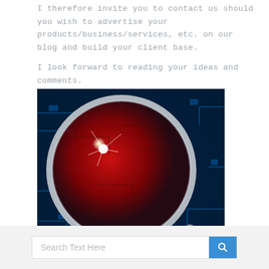I therefore invite you to contact us should you wish to advertise your products/business/services, etc. on our blog and build your client base.
I look forward to reading your ideas and comments.
[Figure (photo): A magnifying glass over a red-lit circuit board, with a bright lens flare, on a blue-tinted electronic background.]
Save  Share
Posted in Uncategorized | 5 Comments »
Search Text Here